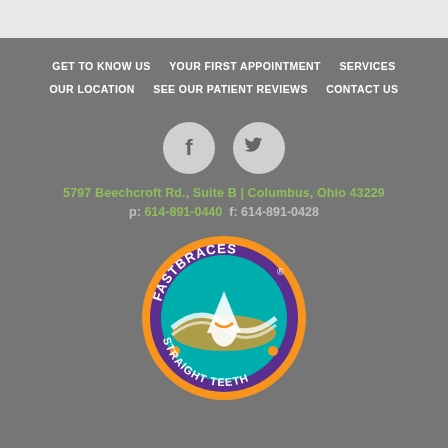GET TO KNOW US
YOUR FIRST APPOINTMENT
SERVICES
OUR LOCATION
SEE OUR PATIENT REVIEWS
CONTACT US
[Figure (logo): Facebook and Twitter social media icon circles]
5797 Beechcroft Rd., Suite B | Columbus, Ohio 43229
p: 614-891-0440  f: 614-891-0428
[Figure (logo): FastBraces Straight Teeth circular logo with orange border, purple text, teal background, and road/tooth design]